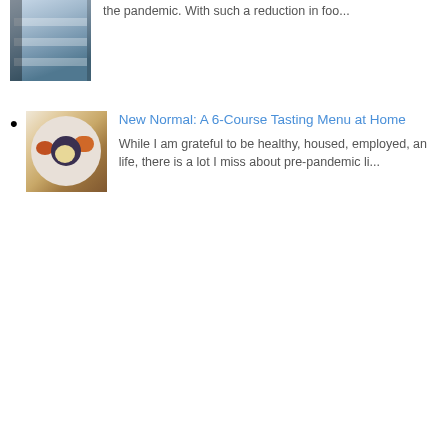[Figure (photo): Photo of refrigerator shelves with products, partially visible at top of page]
the pandemic. With such a reduction in foo...
New Normal: A 6-Course Tasting Menu at Home — While I am grateful to be healthy, housed, employed, and having the best life, there is a lot I miss about pre-pandemic li...